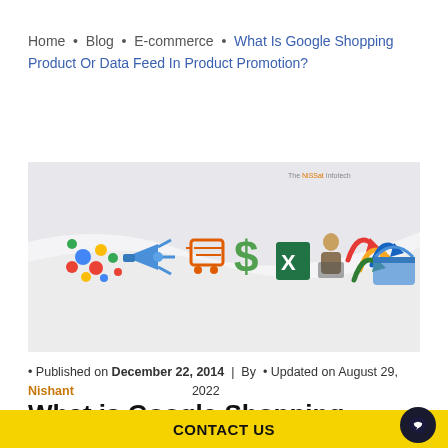Home · Blog · E-commerce · What Is Google Shopping Product Or Data Feed In Product Promotion?
[Figure (illustration): Google Shopping product data feed concept illustration with colorful dots, megaphone, shopping cart, dollar sign, Excel icon, person at computer, arrows, and shopping basket on a grey curved banner background. Watermark reads 'The NlSSat Infotech' in top right.]
• Published on December 22, 2014  |  By  • Updated on August 29, 2022
Nishant
What is Google Shopping Product or